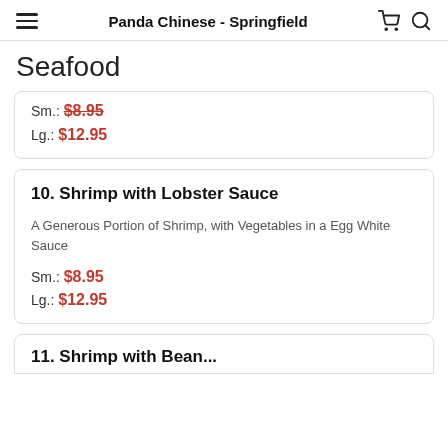Panda Chinese - Springfield
Seafood
Sm.: $8.95
Lg.: $12.95
10. Shrimp with Lobster Sauce
A Generous Portion of Shrimp, with Vegetables in a Egg White Sauce
Sm.: $8.95
Lg.: $12.95
11. Shrimp with Bean...